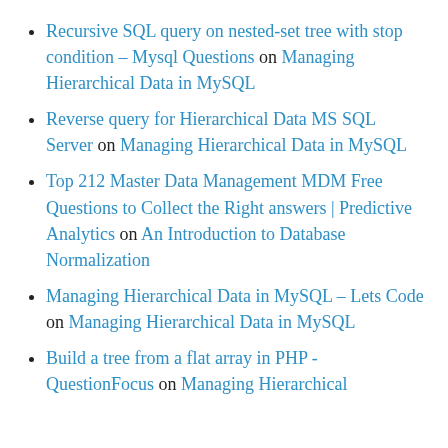Recursive SQL query on nested-set tree with stop condition – Mysql Questions on Managing Hierarchical Data in MySQL
Reverse query for Hierarchical Data MS SQL Server on Managing Hierarchical Data in MySQL
Top 212 Master Data Management MDM Free Questions to Collect the Right answers | Predictive Analytics on An Introduction to Database Normalization
Managing Hierarchical Data in MySQL – Lets Code on Managing Hierarchical Data in MySQL
Build a tree from a flat array in PHP - QuestionFocus on Managing Hierarchical